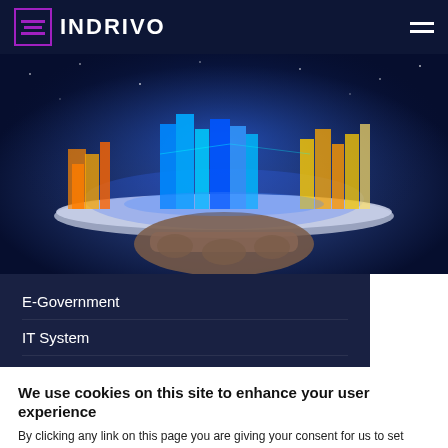INDRIVO
[Figure (photo): Hand holding a glowing holographic smart city with illuminated skyscrapers on a tablet device, set against a dark blue background]
E-Government
IT System
Digital Government
We use cookies on this site to enhance your user experience
By clicking any link on this page you are giving your consent for us to set cookies. More info
Agree  Disagree